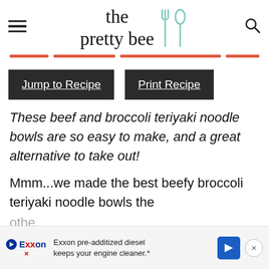the pretty bee
Jump to Recipe   Print Recipe
These beef and broccoli teriyaki noodle bowls are so easy to make, and a great alternative to take out!
Mmm...we made the best beefy broccoli teriyaki noodle bowls the othe... kind...
Exxon pre-additized diesel keeps your engine cleaner.*